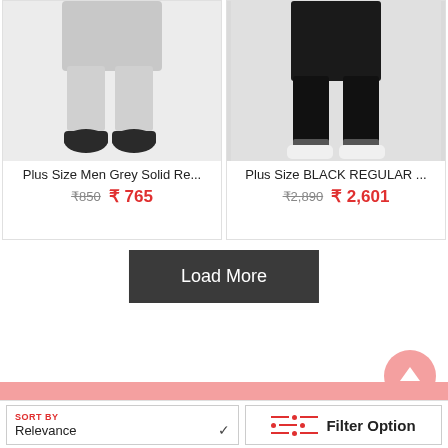[Figure (photo): Person wearing grey shorts and black sneakers - lower body view on white background]
Plus Size Men Grey Solid Re...
₹850  ₹ 765
[Figure (photo): Person wearing black jeans and white sneakers - lower body view on white background]
Plus Size BLACK REGULAR ...
₹2,890  ₹ 2,601
Load More
SORT BY
Relevance
Filter Option